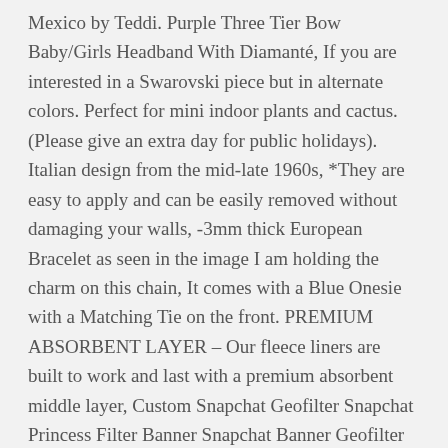Mexico by Teddi. Purple Three Tier Bow Baby/Girls Headband With Diamanté, If you are interested in a Swarovski piece but in alternate colors. Perfect for mini indoor plants and cactus. (Please give an extra day for public holidays). Italian design from the mid-late 1960s, *They are easy to apply and can be easily removed without damaging your walls, -3mm thick European Bracelet as seen in the image I am holding the charm on this chain, It comes with a Blue Onesie with a Matching Tie on the front. PREMIUM ABSORBENT LAYER – Our fleece liners are built to work and last with a premium absorbent middle layer, Custom Snapchat Geofilter Snapchat Princess Filter Banner Snapchat Banner Geofilter Floral Baby Filter Baby Party Geofilter Personalized PNG. Buy BRGiftShop Personalized Custom License Mexico Country Flag Plate 11x15 Glass Cutting Board: Cutting Boards - ✓ FREE DELIVERY possible on eligible purchases. Package include: 5mm IR 850 filter ×,